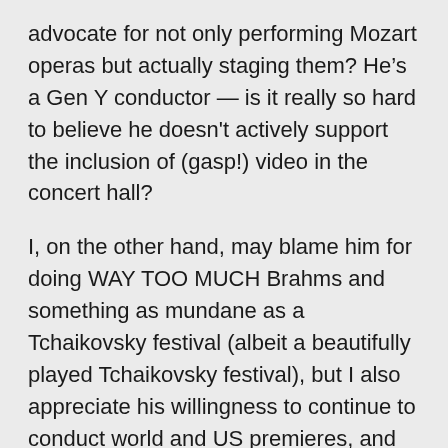advocate for not only performing Mozart operas but actually staging them? He’s a Gen Y conductor — is it really so hard to believe he doesn't actively support the inclusion of (gasp!) video in the concert hall?
I, on the other hand, may blame him for doing WAY TOO MUCH Brahms and something as mundane as a Tchaikovsky festival (albeit a beautifully played Tchaikovsky festival), but I also appreciate his willingness to continue to conduct world and US premieres, and to